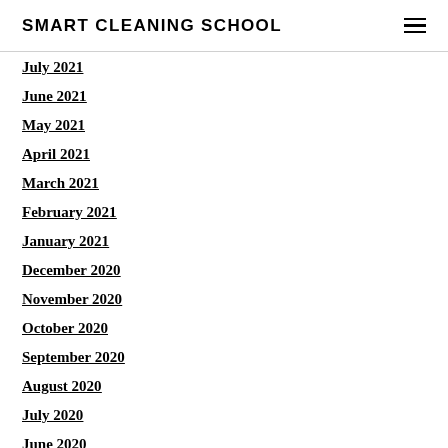SMART CLEANING SCHOOL
July 2021
June 2021
May 2021
April 2021
March 2021
February 2021
January 2021
December 2020
November 2020
October 2020
September 2020
August 2020
July 2020
June 2020
May 2020
April 2020